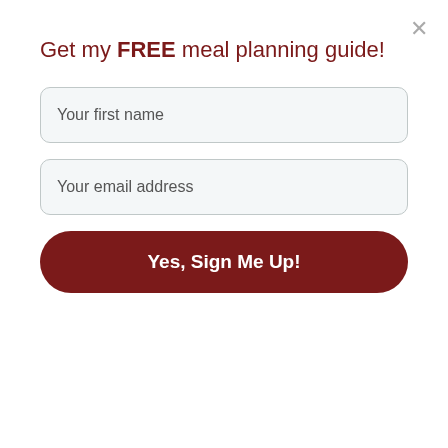Get my FREE meal planning guide!
Your first name
Your email address
Yes, Sign Me Up!
Directions
1. Preheat oven to 350 degrees F.
2. Spray and flour a 10-inch Bundt pan - fluted
3. Beat lemon cake mix, lemon pudding mix, sugar, eggs